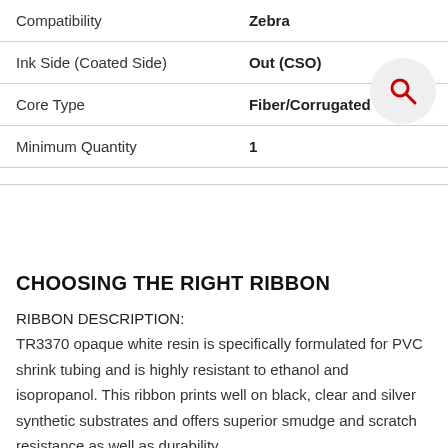| Compatibility | Zebra |
| Ink Side (Coated Side) | Out (CSO) |
| Core Type | Fiber/Corrugated |
| Minimum Quantity | 1 |
CHOOSING THE RIGHT RIBBON
RIBBON DESCRIPTION:
TR3370 opaque white resin is specifically formulated for PVC shrink tubing and is highly resistant to ethanol and isopropanol. This ribbon prints well on black, clear and silver synthetic substrates and offers superior smudge and scratch resistance as well as durability.